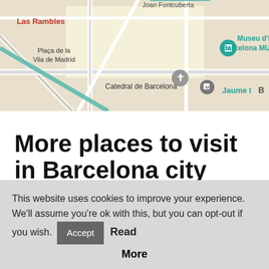[Figure (map): Google Maps screenshot showing Barcelona area with labels: Joan Fontcuberta, Las Rambles, Plaça de la Vila de Madrid, Catedral de Barcelona (with cross icon), Museu d'Història de Barcelona MUHBA (with museum icons), Jaume I, B]
More places to visit in Barcelona city
– Las Ramblas Avenue: La Rambla Avenue goes from Catalonia Square to the seaport, and it has a lot of cafes, terraces, pubs and discotheques. In the end of the street,
This website uses cookies to improve your experience. We'll assume you're ok with this, but you can opt-out if you wish. Accept Read More